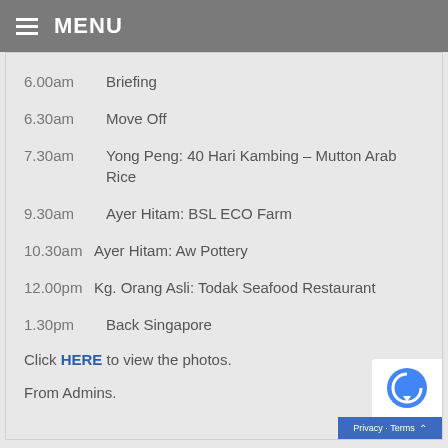≡ MENU
6.00am   Briefing
6.30am   Move Off
7.30am   Yong Peng: 40 Hari Kambing – Mutton Arab Rice
9.30am   Ayer Hitam: BSL ECO Farm
10.30am  Ayer Hitam: Aw Pottery
12.00pm  Kg. Orang Asli: Todak Seafood Restaurant
1.30pm   Back Singapore
Click HERE to view the photos.
From Admins.